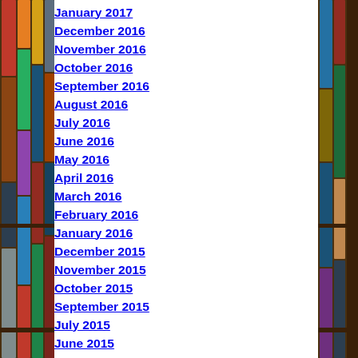January 2017
December 2016
November 2016
October 2016
September 2016
August 2016
July 2016
June 2016
May 2016
April 2016
March 2016
February 2016
January 2016
December 2015
November 2015
October 2015
September 2015
July 2015
June 2015
May 2015
April 2015
March 2015